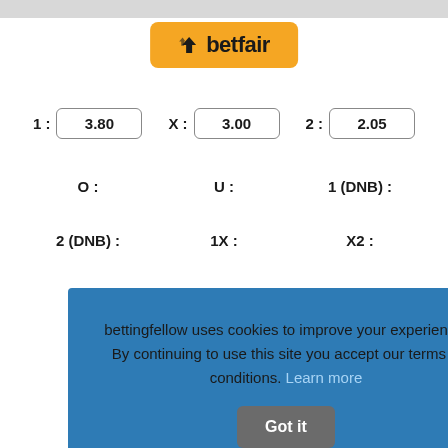[Figure (logo): Betfair logo on orange/yellow rounded rectangle background]
1 : 3.80
X : 3.00
2 : 2.05
O :
U :
1 (DNB) :
2 (DNB) :
1X :
X2 :
bettingfellow uses cookies to improve your experience. By continuing to use this site you accept our terms & conditions. Learn more  Got it
98
B) :
2 (DNB) :
1X :
X2 :